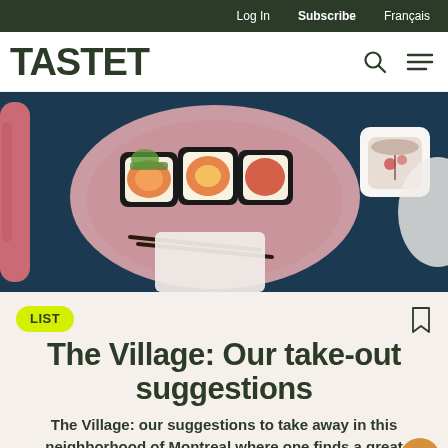Log In  Subscribe  Français
TASTET
[Figure (photo): Overhead shot of sushi rolls on a pink ceramic plate with chopsticks and a cup of tea on a dark blue background]
LIST
The Village: Our take-out suggestions
The Village: our suggestions to take away in this neighborhood of Montreal where one finds a great diversity of good gourmet addresses...